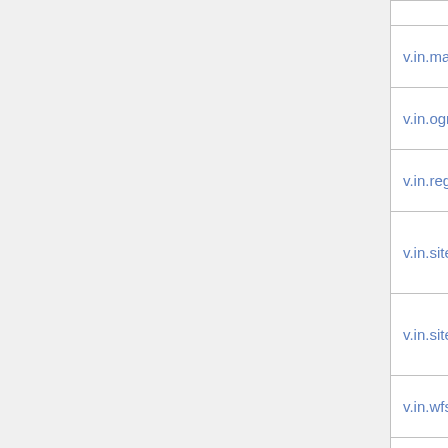| Command |  |  |
| --- | --- | --- |
| v.in.mapgen |  | common |
| v.in.ogr |  | common |
| v.in.region |  | common |
| v.in.sites |  |  |
| v.in.sites.all |  |  |
| v.in.wfs |  |  |
| v.info |  |  |
| v.kcv |  | common |
| v.kernel |  | common |
| v.krige.py |  |  |
| v.label |  |  |
| v.label.sa |  |  |
| v.lidar.correction |  |  |
| v.lidar.edgedetection |  |  |